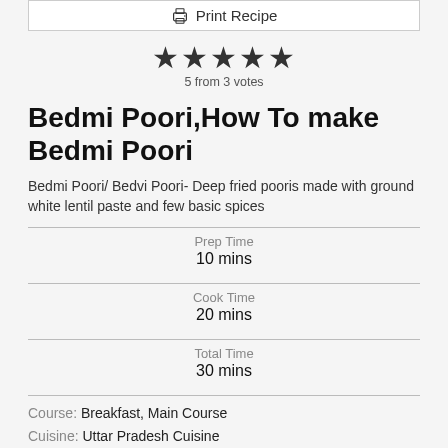Print Recipe
★★★★★
5 from 3 votes
Bedmi Poori,How To make Bedmi Poori
Bedmi Poori/ Bedvi Poori- Deep fried pooris made with ground white lentil paste and few basic spices
Prep Time
10 mins
Cook Time
20 mins
Total Time
30 mins
Course: Breakfast, Main Course
Cuisine: Uttar Pradesh Cuisine
Keyword: bedmi poori, daal poori, kachori
Servings: 4 person   Author: Anjana Chaturvedi